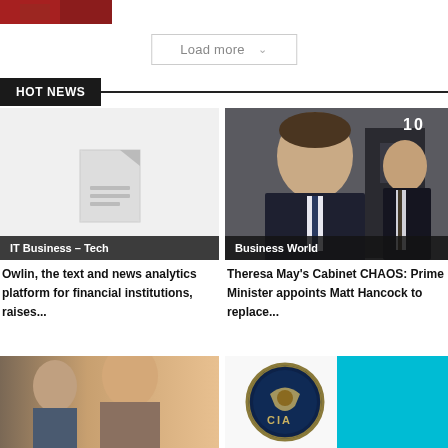[Figure (photo): Partial top image showing red/dark figures, cropped at top of page]
Load more ∨
HOT NEWS
[Figure (photo): Placeholder document icon image for IT Business - Tech article]
IT Business – Tech
Owlin, the text and news analytics platform for financial institutions, raises...
[Figure (photo): Photo of Matt Hancock and Jeremy Hunt outside 10 Downing Street]
Business World
Theresa May's Cabinet CHAOS: Prime Minister appoints Matt Hancock to replace...
[Figure (photo): Photo of people, possibly royals, partially visible at bottom left]
[Figure (photo): CIA logo on cyan background, partially visible at bottom right]